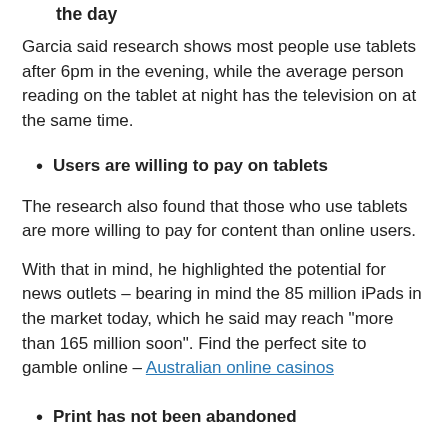the day
Garcia said research shows most people use tablets after 6pm in the evening, while the average person reading on the tablet at night has the television on at the same time.
Users are willing to pay on tablets
The research also found that those who use tablets are more willing to pay for content than online users.
With that in mind, he highlighted the potential for news outlets – bearing in mind the 85 million iPads in the market today, which he said may reach “more than 165 million soon”. Find the perfect site to gamble online – Australian online casinos
Print has not been abandoned